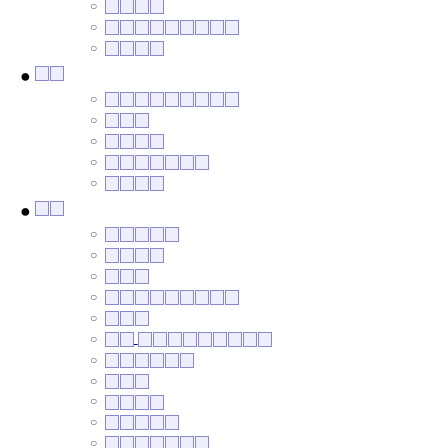[sub-items: 4-char, 9-char, 4-char links]
bullet: 2-char link
[sub-items: 9-char, 3-char, 4-char, 7-char, 4-char links]
bullet: 2-char link
[sub-items: 5-char, 4-char, 3-char, 9-char, 3-char, 10-char, 6-char, 3-char, 4-char, 5-char, 7-char, 9-char, 8-char, 3-char, 3-char links]